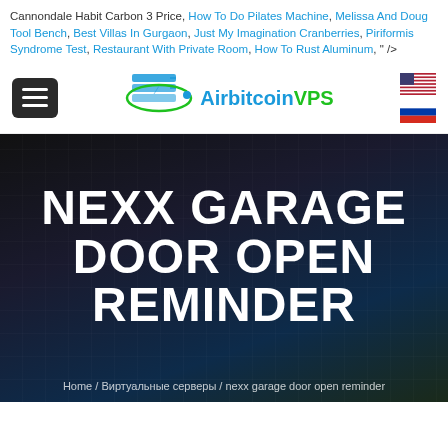Cannondale Habit Carbon 3 Price, How To Do Pilates Machine, Melissa And Doug Tool Bench, Best Villas In Gurgaon, Just My Imagination Cranberries, Piriformis Syndrome Test, Restaurant With Private Room, How To Rust Aluminum, " />
[Figure (logo): AirbitcoinVPS logo with server/satellite dish icon, hamburger menu button, and two country flags (US and Russia)]
NEXX GARAGE DOOR OPEN REMINDER
Home / Виртуальные серверы / nexx garage door open reminder